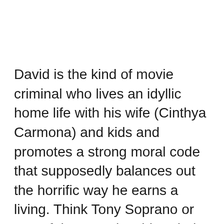David is the kind of movie criminal who lives an idyllic home life with his wife (Cinthya Carmona) and kids and promotes a strong moral code that supposedly balances out the horrific way he earns a living. Think Tony Soprano or one of the more level-headed members of the Corleone family without the internal conflict. Of course, the happy home can't last, because this movie needs David to be in avenging mode, or at least